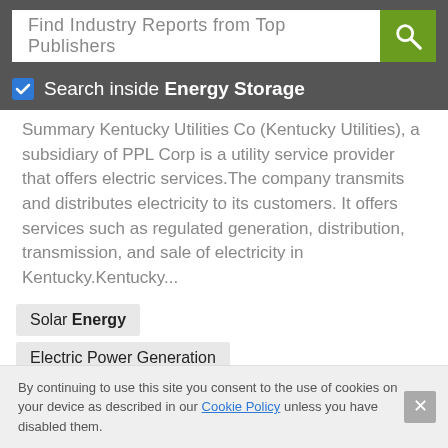[Figure (screenshot): Search bar with placeholder text 'Find Industry Reports from Top Publishers' and a green search button with magnifying glass icon]
Search inside Energy Storage
Summary Kentucky Utilities Co (Kentucky Utilities), a subsidiary of PPL Corp is a utility service provider that offers electric services.The company transmits and distributes electricity to its customers. It offers services such as regulated generation, distribution, transmission, and sale of electricity in Kentucky.Kentucky...
Solar Energy
Electric Power Generation
Energy Storage
Electricity Sales
Energy Consumption
By continuing to use this site you consent to the use of cookies on your device as described in our Cookie Policy unless you have disabled them.